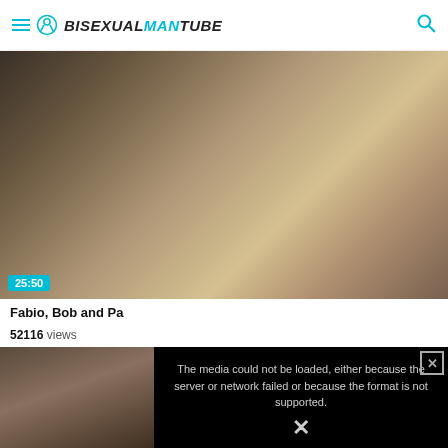BISEXUALMANTUBE
[Figure (photo): Video thumbnail showing adult content, duration badge 25:50]
Fabio, Bob and Pa...
52116 views
[Figure (photo): Small video thumbnail at bottom left]
The media could not be loaded, either because the server or network failed or because the format is not supported.